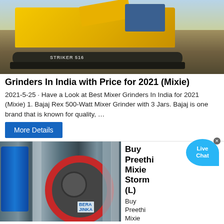[Figure (photo): Yellow construction/mining machine (crusher or screener) on dirt ground]
Grinders In India with Price for 2021 (Mixie)
2021-5-25 · Have a Look at Best Mixer Grinders In India for 2021 (Mixie) 1. Bajaj Rex 500-Watt Mixer Grinder with 3 Jars. Bajaj is one brand that is known for quality, …
More Details
[Figure (photo): Industrial jaw crusher or stone crushing machine with red circular flywheel and blue cylindrical component]
Buy Preethi Mixie Storm (L)
Buy Preethi Mixie
Storm(Storm,Pink with Black) Buy Kitchen appliances online at best price in Tamilnadu, India. visit : vasanthandco For more Details : +91 93335 93335